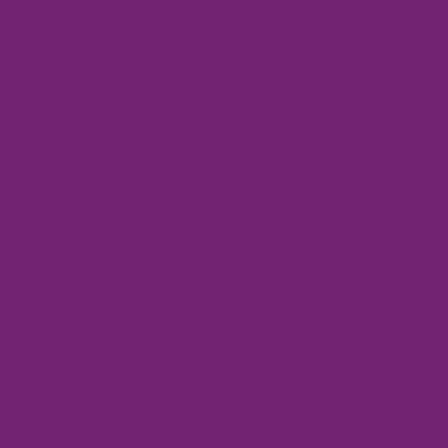[Figure (other): Solid purple/violet background filling the entire page, color approximately #722472 or similar deep purple-magenta.]